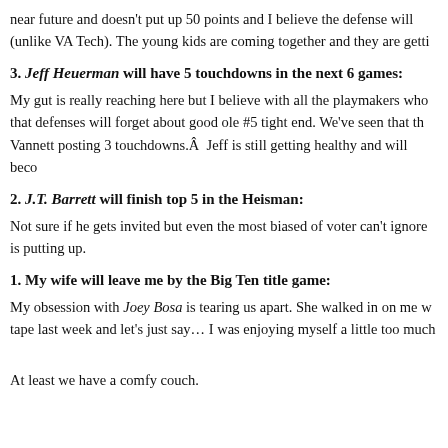near future and doesn't put up 50 points and I believe the defense will (unlike VA Tech). The young kids are coming together and they are getti
3. Jeff Heuerman will have 5 touchdowns in the next 6 games:
My gut is really reaching here but I believe with all the playmakers who that defenses will forget about good ole #5 tight end. We've seen that th Vannett posting 3 touchdowns.Â  Jeff is still getting healthy and will beco
2. J.T. Barrett will finish top 5 in the Heisman:
Not sure if he gets invited but even the most biased of voter can't ignore is putting up.
1. My wife will leave me by the Big Ten title game:
My obsession with Joey Bosa is tearing us apart. She walked in on me w tape last week and let's just say… I was enjoying myself a little too much
At least we have a comfy couch.